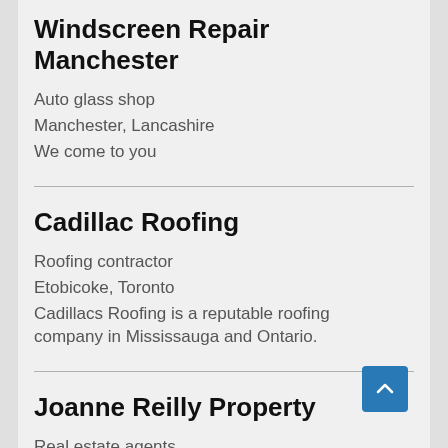Windscreen Repair Manchester
Auto glass shop
Manchester, Lancashire
We come to you
Cadillac Roofing
Roofing contractor
Etobicoke, Toronto
Cadillacs Roofing is a reputable roofing company in Mississauga and Ontario.
Joanne Reilly Property
Real estate agents
Pacific Paradise, Queensland